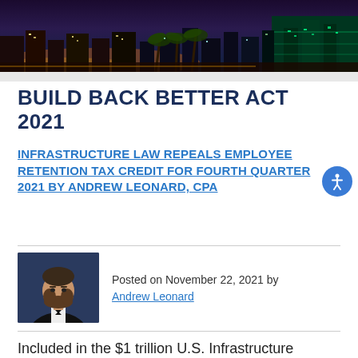[Figure (photo): Aerial night/dusk photo of a city with palm trees, buildings, and colorful lights (appears to be Miami or similar coastal city)]
BUILD BACK BETTER ACT 2021
INFRASTRUCTURE LAW REPEALS EMPLOYEE RETENTION TAX CREDIT FOR FOURTH QUARTER 2021 BY ANDREW LEONARD, CPA
Posted on November 22, 2021 by
Andrew Leonard
Included in the $1 trillion U.S. Infrastructure Investment and Jobs Act (IIJA) signed into law on